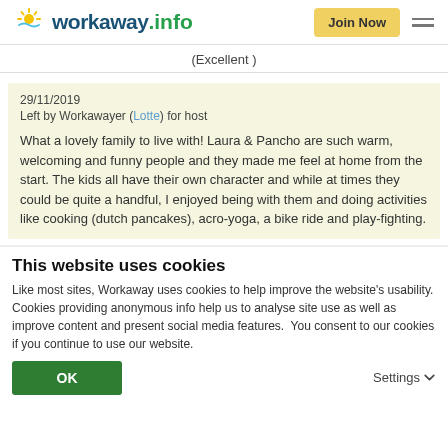workaway.info — Join Now
(Excellent)
29/11/2019
Left by Workakayer (Lotte) for host

What a lovely family to live with! Laura & Pancho are such warm, welcoming and funny people and they made me feel at home from the start. The kids all have their own character and while at times they could be quite a handful, I enjoyed being with them and doing activities like cooking (dutch pancakes), acro-yoga, a bike ride and play-fighting.
This website uses cookies
Like most sites, Workaway uses cookies to help improve the website's usability. Cookies providing anonymous info help us to analyse site use as well as improve content and present social media features.  You consent to our cookies if you continue to use our website.
OK
Settings